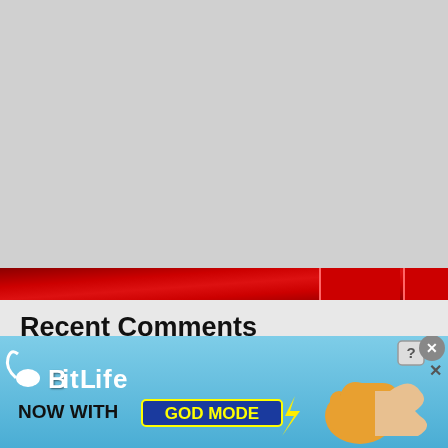[Figure (screenshot): Top portion of a NASCAR/racing website showing a gray placeholder image area above a dark red banner/navigation bar]
Recent Comments
DoninAjax on 2-Headed Monster: Is Joe Gibbs Racing Better Off With or Without Kyle Busch?
Tim on Fire on Fridays: NASCAR Rookie of the Year Award is Becoming Meaningless
[Figure (illustration): BitLife advertisement banner with blue gradient background, BitLife logo, 'NOW WITH GOD MODE' text, thumbs up hand illustration, and close button]